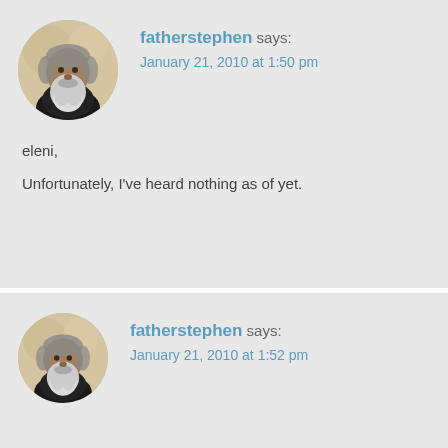[Figure (photo): Circular avatar photo of a bearded man (fatherstephen) against a light background]
fatherstephen says:
January 21, 2010 at 1:50 pm
eleni,

Unfortunately, I've heard nothing as of yet.
[Figure (photo): Circular avatar photo of a bearded man (fatherstephen) against a light background]
fatherstephen says:
January 21, 2010 at 1:52 pm